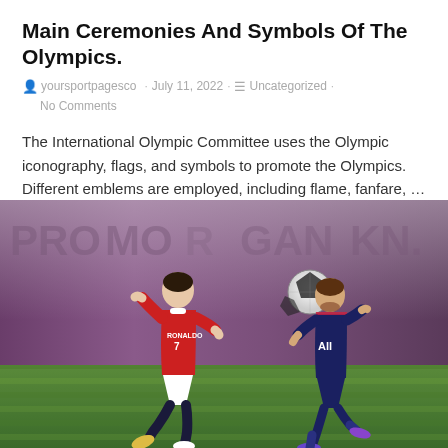Main Ceremonies And Symbols Of The Olympics.
yoursportpagesco · July 11, 2022 · Uncategorized · No Comments
The International Olympic Committee uses the Olympic iconography, flags, and symbols to promote the Olympics. Different emblems are employed, including flame, fanfare, …
[Figure (photo): Two soccer players on a grass field: one in a red Manchester United jersey numbered 7 with 'RONALDO' printed on it kicking a ball, and another in a dark blue PSG jersey running nearby. A soccer ball is visible in the air between them. Blurry stadium background in purple/grey tones.]